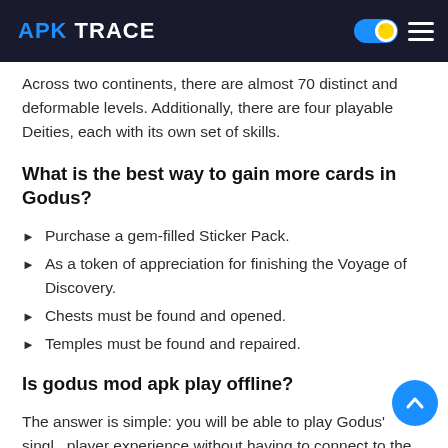APK TRACE
Across two continents, there are almost 70 distinct and deformable levels. Additionally, there are four playable Deities, each with its own set of skills.
What is the best way to gain more cards in Godus?
Purchase a gem-filled Sticker Pack.
As a token of appreciation for finishing the Voyage of Discovery.
Chests must be found and opened.
Temples must be found and repaired.
Is godus mod apk play offline?
The answer is simple: you will be able to play Godus' single player experience without having to connect to the internet, you may play it on a plane or in a cave without any trouble.